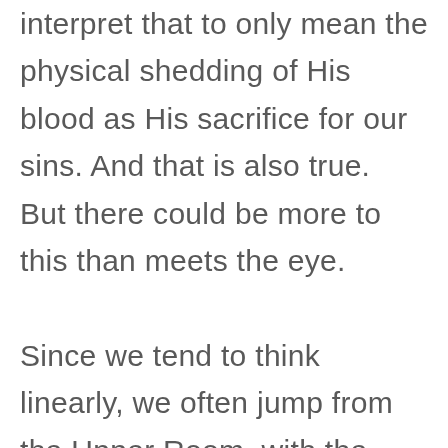interpret that to only mean the physical shedding of His blood as His sacrifice for our sins. And that is also true.  But there could be more to this than meets the eye.

Since we tend to think linearly, we often jump from the Upper Room, with the bread and wine, to the cross, with His broken body and shed blood, and assume we have the point of the Lord's Supper all...